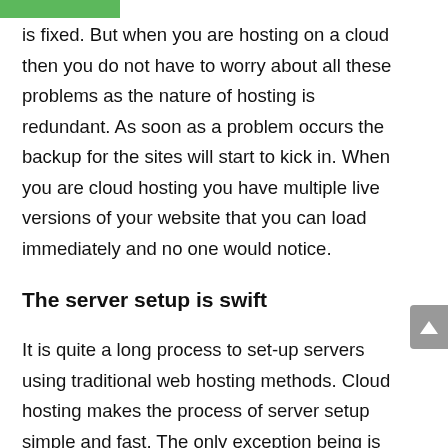is fixed. But when you are hosting on a cloud then you do not have to worry about all these problems as the nature of hosting is redundant. As soon as a problem occurs the backup for the sites will start to kick in. When you are cloud hosting you have multiple live versions of your website that you can load immediately and no one would notice.
The server setup is swift
It is quite a long process to set-up servers using traditional web hosting methods. Cloud hosting makes the process of server setup simple and fast. The only exception being is when you are in the middle of host migration. In such a case you need to wait until the server is ready. You can also encounter difficulties if you have signed up for a shared hosting plan. But if you want to set up the server only for